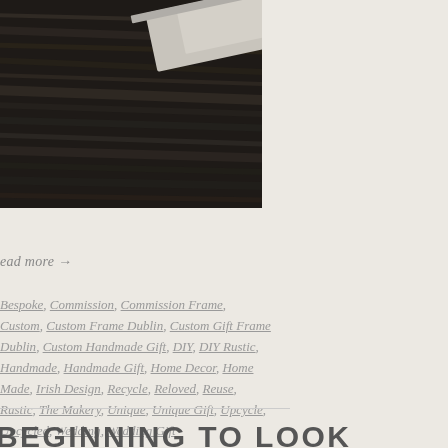[Figure (photo): Close-up photo of a dark wood-grain picture frame with a light-colored mat or border visible at the corner, resting on a light background.]
ead more →
Bespoke, Commission, Commission Frame, Custom, Custom Frame Dublin, Custom Gift Frame Dublin, Custom Handmade Gift, DIY, DIY Rustic, Handmade, Handmade Gift, Home Decor, Home Made, Irish Design, Recycle, Reloved, Reuse, Rustic, The Makery, Unique, Unique Gift, Upcycle, Upcycled, Wedding, Wedding Gift
BEGINNING TO LOOK